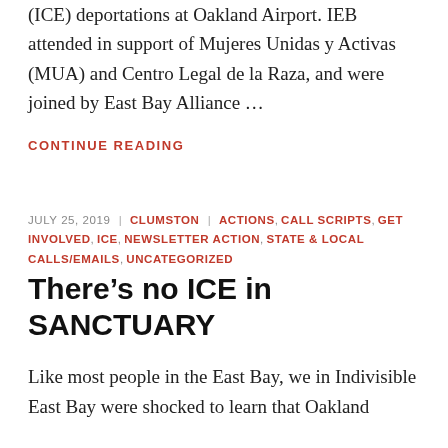(ICE) deportations at Oakland Airport. IEB attended in support of Mujeres Unidas y Activas (MUA) and Centro Legal de la Raza, and were joined by East Bay Alliance …
CONTINUE READING
JULY 25, 2019 | CLUMSTON | ACTIONS, CALL SCRIPTS, GET INVOLVED, ICE, NEWSLETTER ACTION, STATE & LOCAL CALLS/EMAILS, UNCATEGORIZED
There's no ICE in SANCTUARY
Like most people in the East Bay, we in Indivisible East Bay were shocked to learn that Oakland